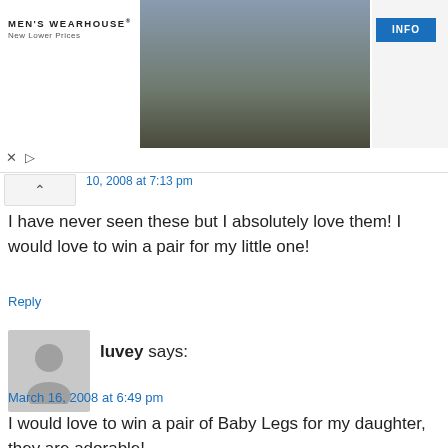[Figure (photo): Men's Wearhouse advertisement banner showing a couple in formal attire and a man in a tuxedo, with an INFO button]
I have never seen these but I absolutely love them! I would love to win a pair for my little one!
Reply
[Figure (photo): Generic user avatar placeholder (grey silhouette)]
luvey says:
March 16, 2008 at 6:49 pm
I would love to win a pair of Baby Legs for my daughter, they are adorable!
Reply